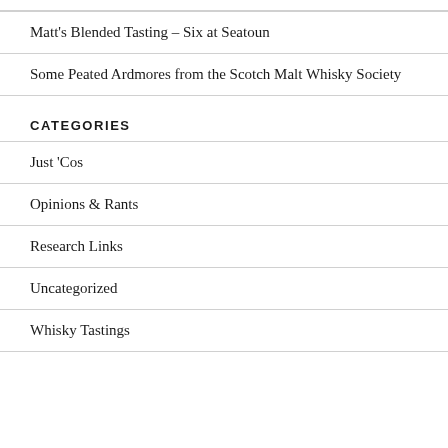Matt's Blended Tasting – Six at Seatoun
Some Peated Ardmores from the Scotch Malt Whisky Society
CATEGORIES
Just 'Cos
Opinions & Rants
Research Links
Uncategorized
Whisky Tastings